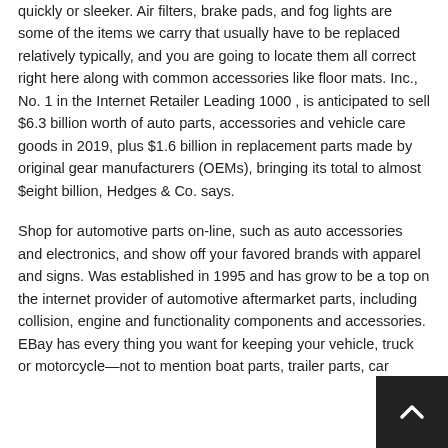quickly or sleeker. Air filters, brake pads, and fog lights are some of the items we carry that usually have to be replaced relatively typically, and you are going to locate them all correct right here along with common accessories like floor mats. Inc., No. 1 in the Internet Retailer Leading 1000 , is anticipated to sell $6.3 billion worth of auto parts, accessories and vehicle care goods in 2019, plus $1.6 billion in replacement parts made by original gear manufacturers (OEMs), bringing its total to almost $eight billion, Hedges & Co. says.
Shop for automotive parts on-line, such as auto accessories and electronics, and show off your favored brands with apparel and signs. Was established in 1995 and has grow to be a top on the internet provider of automotive aftermarket parts, including collision, engine and functionality components and accessories. EBay has every thing you want for keeping your vehicle, truck or motorcycle—not to mention boat parts, trailer parts, car parts, ATV components and more. You can do it all with name and